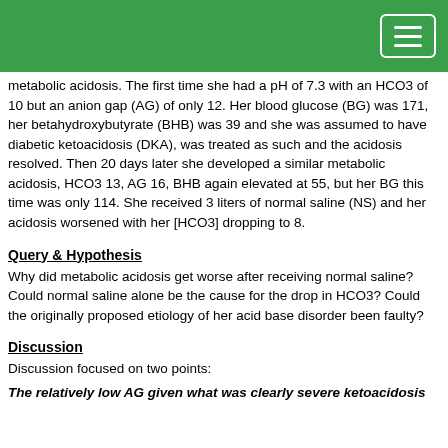metabolic acidosis. The first time she had a pH of 7.3 with an HCO3 of 10 but an anion gap (AG) of only 12. Her blood glucose (BG) was 171, her betahydroxybutyrate (BHB) was 39 and she was assumed to have diabetic ketoacidosis (DKA), was treated as such and the acidosis resolved. Then 20 days later she developed a similar metabolic acidosis, HCO3 13, AG 16, BHB again elevated at 55, but her BG this time was only 114. She received 3 liters of normal saline (NS) and her acidosis worsened with her [HCO3] dropping to 8.
Query & Hypothesis
Why did metabolic acidosis get worse after receiving normal saline? Could normal saline alone be the cause for the drop in HCO3? Could the originally proposed etiology of her acid base disorder been faulty?
Discussion
Discussion focused on two points:
The relatively low AG given what was clearly severe ketoacidosis